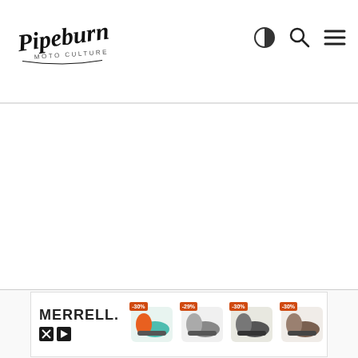Pipeburn Moto Culture - logo with search and menu icons
[Figure (screenshot): Large blank white content area below the navigation header]
[Figure (photo): Merrell advertisement banner showing shoes with discount badges -30%, -29%, -30%, -30%]